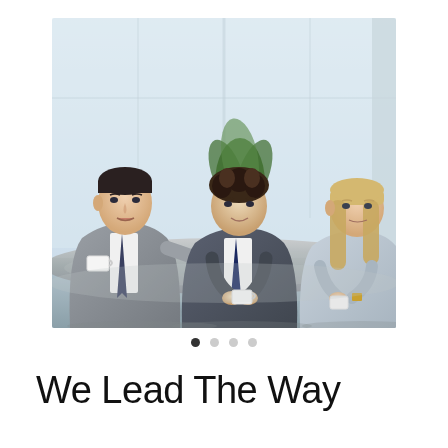[Figure (photo): Three business professionals in suits having a meeting around a glass table in a modern office with large windows and a plant in the background. Two men and one woman, all holding or near small coffee cups.]
We Lead The Way